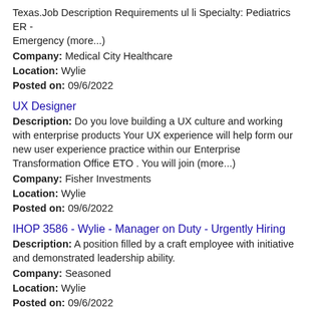Texas.Job Description Requirements ul li Specialty: Pediatrics ER - Emergency (more...)
Company: Medical City Healthcare
Location: Wylie
Posted on: 09/6/2022
UX Designer
Description: Do you love building a UX culture and working with enterprise products Your UX experience will help form our new user experience practice within our Enterprise Transformation Office ETO . You will join (more...)
Company: Fisher Investments
Location: Wylie
Posted on: 09/6/2022
IHOP 3586 - Wylie - Manager on Duty - Urgently Hiring
Description: A position filled by a craft employee with initiative and demonstrated leadership ability.
Company: Seasoned
Location: Wylie
Posted on: 09/6/2022
Registered Nurse (RN) - Oncology - $27-36 per hour
Description: Medical City Healthcare is hiring Registered Nu...